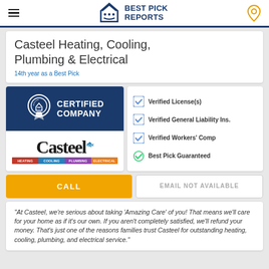Best Pick Reports
Casteel Heating, Cooling, Plumbing & Electrical
14th year as a Best Pick
[Figure (logo): Best Pick Reports Certified Company badge with blue background and medal icon]
[Figure (logo): Casteel company logo with heating, cooling, plumbing, electrical color bar]
Verified License(s)
Verified General Liability Ins.
Verified Workers' Comp
Best Pick Guaranteed
CALL
EMAIL NOT AVAILABLE
"At Casteel, we're serious about taking 'Amazing Care' of you! That means we'll care for your home as if it's our own. If you aren't completely satisfied, we'll refund your money. That's just one of the reasons families trust Casteel for outstanding heating, cooling, plumbing, and electrical service."